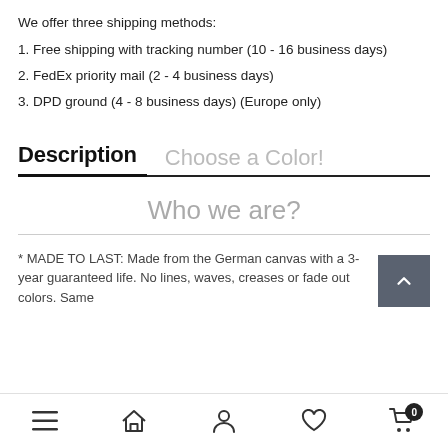We offer three shipping methods:
1. Free shipping with tracking number (10 - 16 business days)
2. FedEx priority mail (2 - 4 business days)
3. DPD ground (4 - 8 business days) (Europe only)
Description   Choose a Color!
Who we are?
* MADE TO LAST: Made from the German canvas with a 3-year guaranteed life. No lines, waves, creases or fade out colors. Same
Navigation bar with menu, home, user, heart, and cart (0) icons